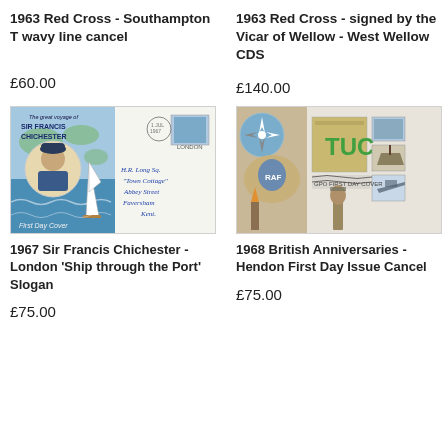1963 Red Cross - Southampton T wavy line cancel
1963 Red Cross - signed by the Vicar of Wellow - West Wellow CDS
£60.00
£140.00
[Figure (photo): First Day Cover envelope for 1967 Sir Francis Chichester featuring illustration of sailing yacht and map, with London postmark and handwritten signature/address]
[Figure (photo): GPO First Day Cover for 1968 British Anniversaries with stamps showing TUC and other anniversary imagery, Hendon First Day Issue Cancel]
1967 Sir Francis Chichester - London 'Ship through the Port' Slogan
1968 British Anniversaries - Hendon First Day Issue Cancel
£75.00
£75.00